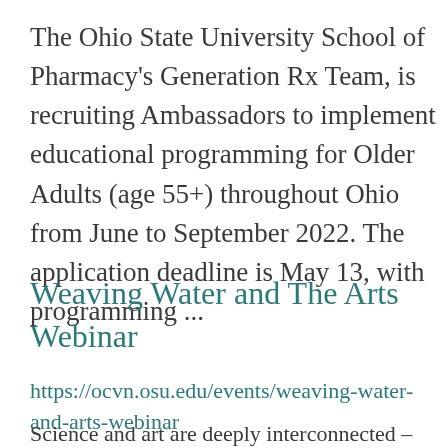The Ohio State University School of Pharmacy's Generation Rx Team, is recruiting Ambassadors to implement educational programming for Older Adults (age 55+) throughout Ohio from June to September 2022. The application deadline is May 13, with programming ...
Weaving Water and The Arts Webinar
https://ocvn.osu.edu/events/weaving-water-and-arts-webinar
Science and art are deeply interconnected –